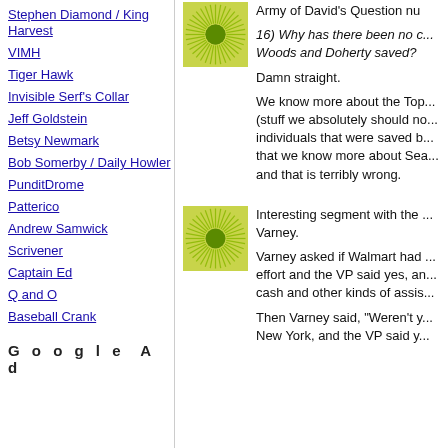Stephen Diamond / King Harvest
VIMH
Tiger Hawk
Invisible Serf's Collar
Jeff Goldstein
Betsy Newmark
Bob Somerby / Daily Howler
PunditDrome
Patterico
Andrew Samwick
Scrivener
Captain Ed
Q and O
Baseball Crank
Google Ad
[Figure (illustration): Green sunburst / sun icon with olive green rays on a yellow-green background]
Army of David's Question nu
16) Why has there been no c... Woods and Doherty saved?
Damn straight.
We know more about the Top... (stuff we absolutely should no... individuals that were saved b... that we know more about Sea... and that is terribly wrong.
[Figure (illustration): Green sunburst / sun icon with olive green rays on a yellow-green background]
Interesting segment with the ... Varney.
Varney asked if Walmart had ... effort and the VP said yes, an... cash and other kinds of assis...
Then Varney said, "Weren't y... New York, and the VP said y...